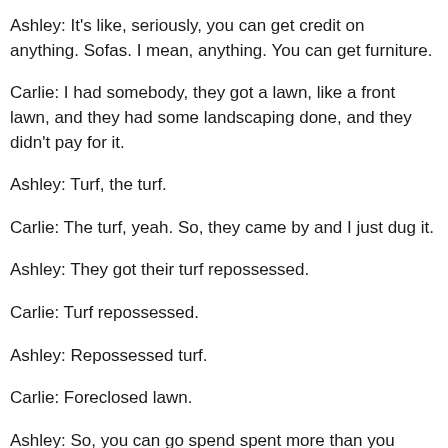Ashley: It's like, seriously, you can get credit on anything. Sofas. I mean, anything. You can get furniture.
Carlie: I had somebody, they got a lawn, like a front lawn, and they had some landscaping done, and they didn't pay for it.
Ashley: Turf, the turf.
Carlie: The turf, yeah. So, they came by and I just dug it.
Ashley: They got their turf repossessed.
Carlie: Turf repossessed.
Ashley: Repossessed turf.
Carlie: Foreclosed lawn.
Ashley: So, you can go spend spent more than you have. So, not